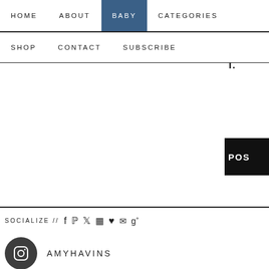HOME  ABOUT  BABY  CATEGORIES  SHOP  CONTACT  SUBSCRIBE
BROWSE FOR NEXT TIME COMMENT.
POST
SOCIALIZE //  f  p  Twitter  Instagram  Heart  Email  g+
[Figure (logo): Instagram circle icon logo in dark gray]
AMYHAVINS